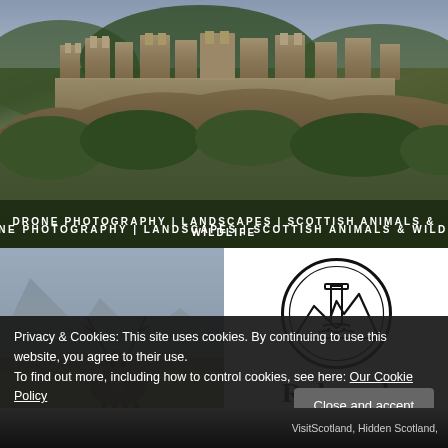[Figure (photo): Aerial/drone photograph of a Scottish castle (Stirling Castle) perched on rock with surrounding trees and battlements, overcast sky]
DRONE PHOTOGRAPHY | LANDSCAPES | SCOTTISH ANIMALS & WILDLIFE
[Figure (photo): Photo of a red deer stag with antlers standing in a highland field with mountain in background]
[Figure (logo): Rabmxd Photography logo — circular illustration of a waterfall in mountains above text 'Rabmxd PHOTOGRAPHY']
Privacy & Cookies: This site uses cookies. By continuing to use this website, you agree to their use.
To find out more, including how to control cookies, see here: Our Cookie Policy
Close and accept
VisitScotland, Hidden Scotland,